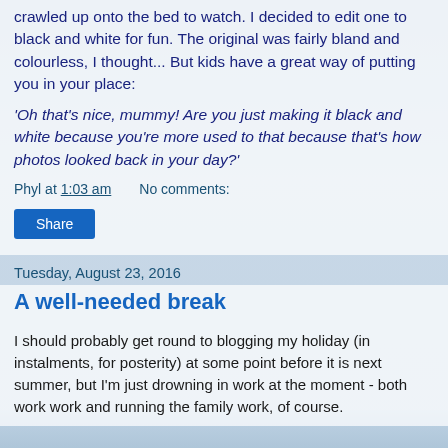crawled up onto the bed to watch. I decided to edit one to black and white for fun. The original was fairly bland and colourless, I thought... But kids have a great way of putting you in your place:
'Oh that's nice, mummy! Are you just making it black and white because you're more used to that because that's how photos looked back in your day?'
Phyl at 1:03 am    No comments:
Share
Tuesday, August 23, 2016
A well-needed break
I should probably get round to blogging my holiday (in instalments, for posterity) at some point before it is next summer, but I'm just drowning in work at the moment - both work work and running the family work, of course.